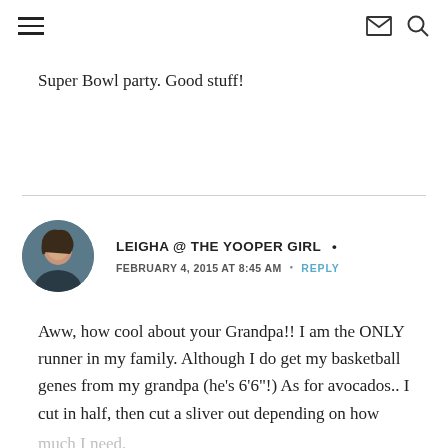hamburger menu | envelope icon | search icon
Super Bowl party. Good stuff!
LEIGHA @ THE YOOPER GIRL • FEBRUARY 4, 2015 AT 8:45 AM • REPLY
Aww, how cool about your Grandpa!! I am the ONLY runner in my family. Although I do get my basketball genes from my grandpa (he's 6'6"!) As for avocados.. I cut in half, then cut a sliver out depending on how much I need.